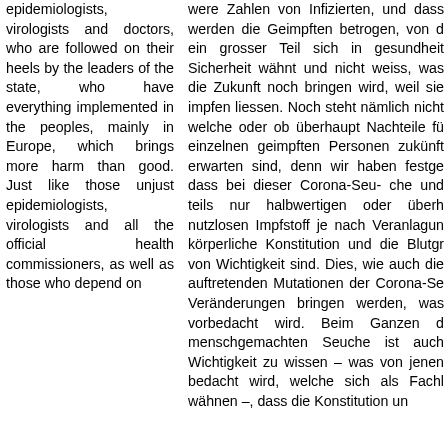epidemiologists, virologists and doctors, who are followed on their heels by the leaders of the state, who have everything implemented in the peoples, mainly in Europe, which brings more harm than good. Just like those unjust epidemiologists, virologists and all the official health commissioners, as well as those who depend on
were Zahlen von Infizierten, und dass werden die Geimpften betrogen, von d ein grosser Teil sich in gesundheit Sicherheit wähnt und nicht weiss, was die Zukunft noch bringen wird, weil sie impfen liessen. Noch steht nämlich nicht welche oder ob überhaupt Nachteile fü einzelnen geimpften Personen zukünft erwarten sind, denn wir haben festge dass bei dieser Corona-Seu- che und teils nur halbwertigen oder überh nutzlosen Impfstoff je nach Veranlagun körperliche Konstitution und die Blutgr von Wichtigkeit sind. Dies, wie auch die auftretenden Mutationen der Corona-Se Veränderungen bringen werden, was vorbedacht wird. Beim Ganzen d menschgemachten Seuche ist auch Wichtigkeit zu wissen – was von jenen bedacht wird, welche sich als Fachl wähnen –, dass die Konstitution un